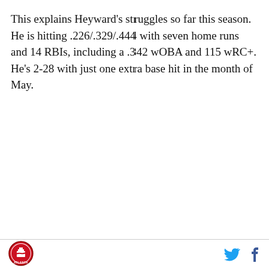This explains Heyward's struggles so far this season. He is hitting .226/.329/.444 with seven home runs and 14 RBIs, including a .342 wOBA and 115 wRC+. He's 2-28 with just one extra base hit in the month of May.
[Figure (logo): Atlanta Braves circular logo with red border and building/tomahawk imagery, text ATLANTA at bottom]